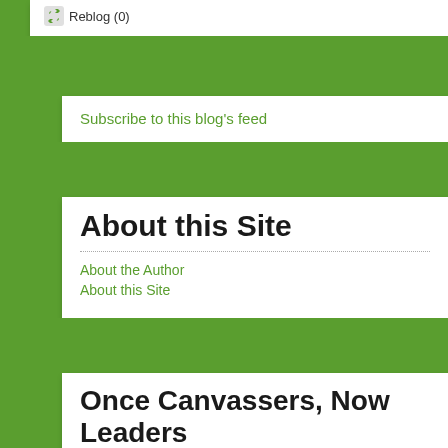Reblog (0)
Subscribe to this blog's feed
About this Site
About the Author
About this Site
Once Canvassers, Now Leaders
The Hon. Derek Kilmer- U.S. House of Representatives, Washington's 6th Congressional District
Mayor Pro-em and Mason Community Foundation...